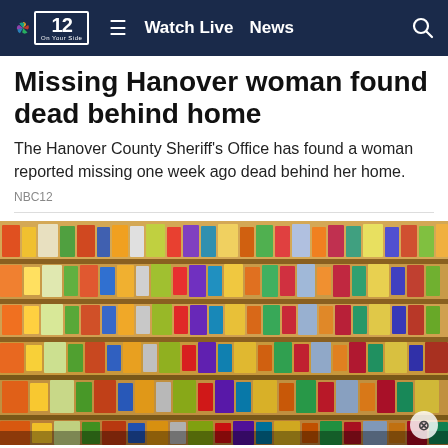NBC12 — Watch Live  News
Missing Hanover woman found dead behind home
The Hanover County Sheriff's Office has found a woman reported missing one week ago dead behind her home.
NBC12
[Figure (photo): Wide-angle photograph of densely stocked grocery store shelves filled with colorful packaged products spanning multiple rows from floor level upward.]